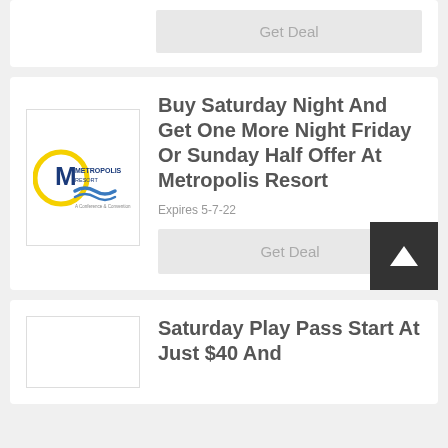Get Deal
[Figure (logo): Metropolis Resort logo with yellow circle and blue wave]
Buy Saturday Night And Get One More Night Friday Or Sunday Half Offer At Metropolis Resort
Expires 5-7-22
Get Deal
Saturday Play Pass Start At Just $40 And